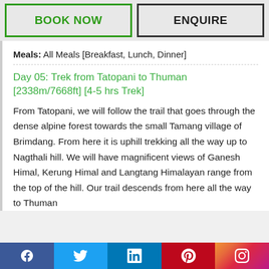BOOK NOW
ENQUIRE
Meals: All Meals [Breakfast, Lunch, Dinner]
Day 05: Trek from Tatopani to Thuman [2338m/7668ft] [4-5 hrs Trek]
From Tatopani, we will follow the trail that goes through the dense alpine forest towards the small Tamang village of Brimdang. From here it is uphill trekking all the way up to Nagthali hill. We will have magnificent views of Ganesh Himal, Kerung Himal and Langtang Himalayan range from the top of the hill. Our trail descends from here all the way to Thuman
Social media icons: Facebook, Twitter, LinkedIn, Pinterest, Instagram